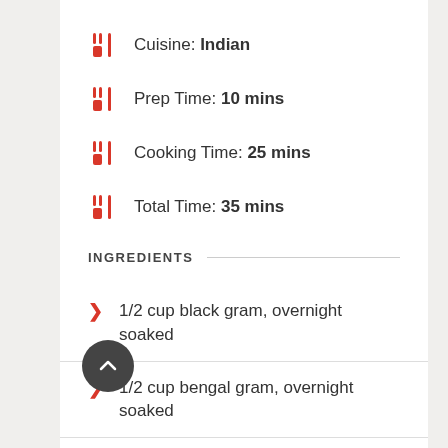Cuisine: Indian
Prep Time: 10 mins
Cooking Time: 25 mins
Total Time: 35 mins
INGREDIENTS
1/2 cup black gram, overnight soaked
1/2 cup bengal gram, overnight soaked
2 tablespoon ghee